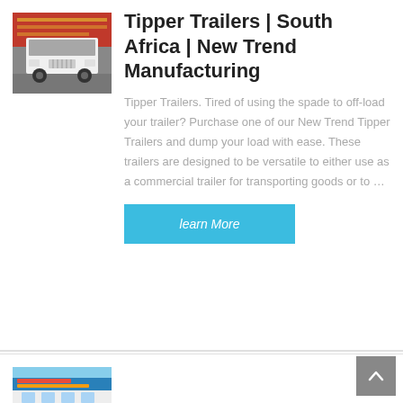[Figure (photo): Front view of a white heavy-duty tipper truck parked in front of red banner signs with Chinese text]
Tipper Trailers | South Africa | New Trend Manufacturing
Tipper Trailers. Tired of using the spade to off-load your trailer? Purchase one of our New Trend Tipper Trailers and dump your load with ease. These trailers are designed to be versatile to either use as a commercial trailer for transporting goods or to …
learn More
[Figure (photo): Partial view of a building or truck with colorful signage, partially cut off at the bottom of the page]